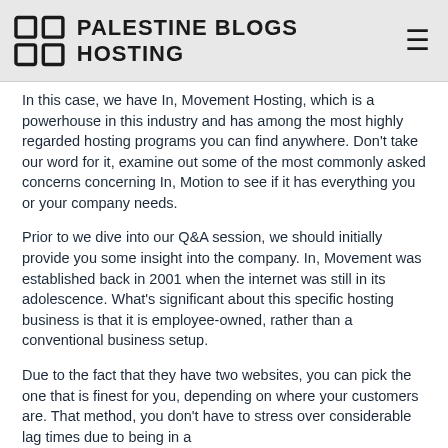PALESTINE BLOGS HOSTING
In this case, we have In, Movement Hosting, which is a powerhouse in this industry and has among the most highly regarded hosting programs you can find anywhere. Don't take our word for it, examine out some of the most commonly asked concerns concerning In, Motion to see if it has everything you or your company needs.
Prior to we dive into our Q&A session, we should initially provide you some insight into the company. In, Movement was established back in 2001 when the internet was still in its adolescence. What's significant about this specific hosting business is that it is employee-owned, rather than a conventional business setup.
Due to the fact that they have two websites, you can pick the one that is finest for you, depending on where your customers are. That method, you don't have to stress over considerable lag times due to being in a